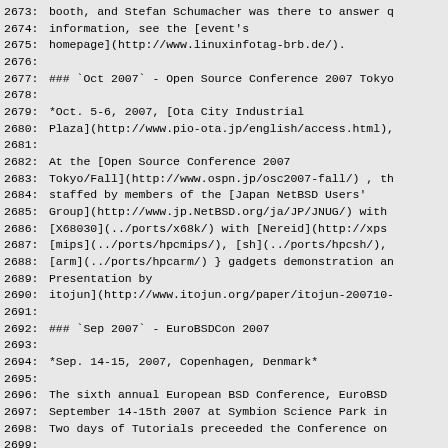2673: booth, and Stefan Schumacher was there to answer q
2674: information, see the [event's
2675: homepage](http://www.linuxinfotag-brb.de/).
2676:
2677: ### `Oct 2007` - Open Source Conference 2007 Tokyo
2678:
2679: *Oct. 5-6, 2007, [Ota City Industrial
2680: Plaza](http://www.pio-ota.jp/english/access.html),
2681:
2682: At the [Open Source Conference 2007
2683: Tokyo/Fall](http://www.ospn.jp/osc2007-fall/) , th
2684: staffed by members of the [Japan NetBSD Users'
2685: Group](http://www.jp.NetBSD.org/ja/JP/JNUG/) with
2686: [X68030](../ports/x68k/) with [Nereid](http://xps
2687: [mips](../ports/hpcmips/), [sh](../ports/hpcsh/),
2688: [arm](../ports/hpcarm/) } gadgets demonstration an
2689: Presentation by
2690: itojun](http://www.itojun.org/paper/itojun-200710-
2691:
2692: ### `Sep 2007` - EuroBSDCon 2007
2693:
2694: *Sep. 14-15, 2007, Copenhagen, Denmark*
2695:
2696: The sixth annual European BSD Conference, EuroBSD
2697: September 14-15th 2007 at Symbion Science Park in
2698: Two days of Tutorials preceeded the Conference on
2699:
2700: For more information about EuroBSDCon 2007 visit t
2701: [](http://2007.EuroBSDCon.org/).
2702: